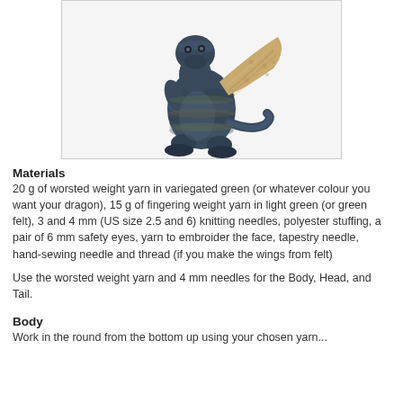[Figure (photo): A small knitted dragon toy in variegated blue-green yarn with tan/beige knitted wings, sitting upright, photographed against a white background.]
Materials
20 g of worsted weight yarn in variegated green (or whatever colour you want your dragon), 15 g of fingering weight yarn in light green (or green felt), 3 and 4 mm (US size 2.5 and 6) knitting needles, polyester stuffing, a pair of 6 mm safety eyes, yarn to embroider the face, tapestry needle, hand-sewing needle and thread (if you make the wings from felt)
Use the worsted weight yarn and 4 mm needles for the Body, Head, and Tail.
Body
Work in the round from the bottom up using your chosen yarn...